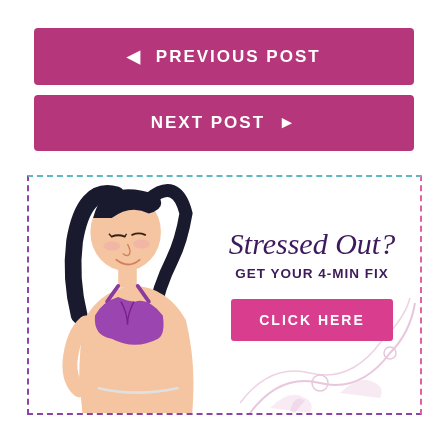◄ PREVIOUS POST
NEXT POST ►
[Figure (illustration): Advertisement banner with an illustrated woman meditating in a purple sports bra, with decorative floral swirls, text 'Stressed Out? GET YOUR 4-MIN FIX' and a pink 'CLICK HERE' button, framed with a dashed border.]